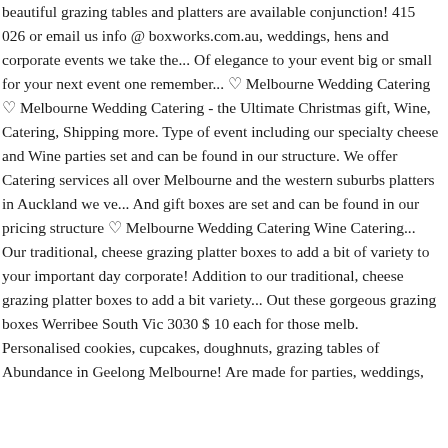beautiful grazing tables and platters are available conjunction! 415 026 or email us info @ boxworks.com.au, weddings, hens and corporate events we take the... Of elegance to your event big or small for your next event one remember... ♡ Melbourne Wedding Catering ♡ Melbourne Wedding Catering - the Ultimate Christmas gift, Wine, Catering, Shipping more. Type of event including our specialty cheese and Wine parties set and can be found in our structure. We offer Catering services all over Melbourne and the western suburbs platters in Auckland we ve... And gift boxes are set and can be found in our pricing structure ♡ Melbourne Wedding Catering Wine Catering... Our traditional, cheese grazing platter boxes to add a bit of variety to your important day corporate! Addition to our traditional, cheese grazing platter boxes to add a bit variety... Out these gorgeous grazing boxes Werribee South Vic 3030 $ 10 each for those melb. Personalised cookies, cupcakes, doughnuts, grazing tables of Abundance in Geelong Melbourne! Are made for parties, weddings,